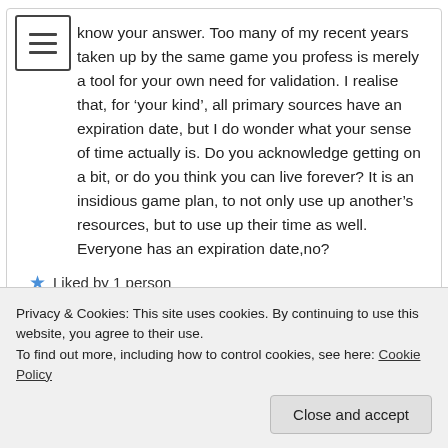know your answer. Too many of my recent years taken up by the same game you profess is merely a tool for your own need for validation. I realise that, for ‘your kind’, all primary sources have an expiration date, but I do wonder what your sense of time actually is. Do you acknowledge getting on a bit, or do you think you can live forever? It is an insidious game plan, to not only use up another’s resources, but to use up their time as well. Everyone has an expiration date,no?
Liked by 1 person
Reply
Privacy & Cookies: This site uses cookies. By continuing to use this website, you agree to their use.
To find out more, including how to control cookies, see here: Cookie Policy
Close and accept